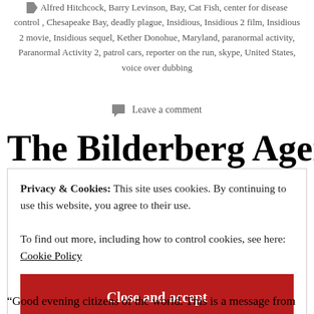Alfred Hitchcock, Barry Levinson, Bay, Cat Fish, center for disease control, Chesapeake Bay, deadly plague, Insidious, Insidious 2 film, Insidious 2 movie, Insidious sequel, Kether Donohue, Maryland, paranormal activity, Paranormal Activity 2, patrol cars, reporter on the run, skype, United States, voice over dubbing
Leave a comment
The Bilderberg Agenda
Privacy & Cookies: This site uses cookies. By continuing to use this website, you agree to their use.
To find out more, including how to control cookies, see here:
Cookie Policy
Close and accept
“Good evening citizens of the world. This is a message from